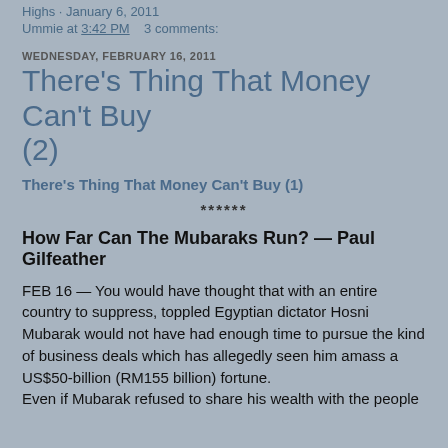Highs · January 6, 2011
Ummie at 3:42 PM   3 comments:
WEDNESDAY, FEBRUARY 16, 2011
There's Thing That Money Can't Buy (2)
There's Thing That Money Can't Buy (1)
******
How Far Can The Mubaraks Run? — Paul Gilfeather
FEB 16 — You would have thought that with an entire country to suppress, toppled Egyptian dictator Hosni Mubarak would not have had enough time to pursue the kind of business deals which has allegedly seen him amass a US$50-billion (RM155 billion) fortune.
Even if Mubarak refused to share his wealth with the people